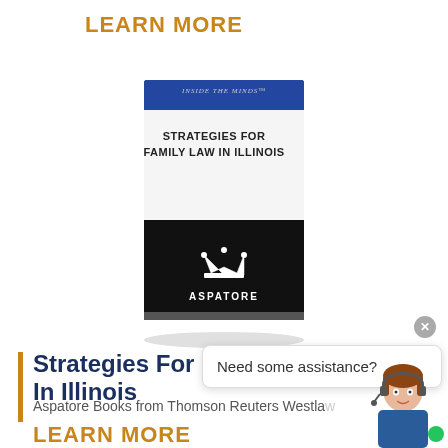LEARN MORE
[Figure (photo): Book cover: Strategies for Family Law in Illinois — Aspatore series. Dark cover with crown logo and blue header band.]
Strategies For Family Law In Illinois
Aspatore Books from Thomson Reuters Westlaw
LEARN MORE
[Figure (screenshot): Chat assistance popup with text 'Need some assistance?' and a customer service agent photo with green online indicator dot.]